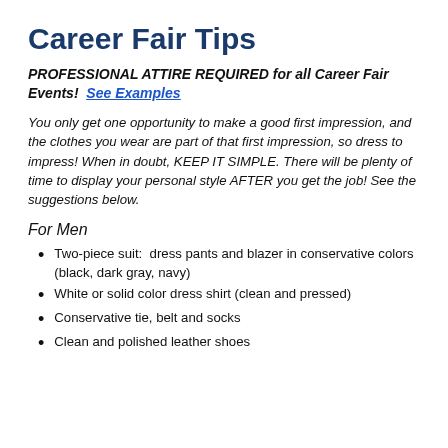Career Fair Tips
PROFESSIONAL ATTIRE REQUIRED for all Career Fair Events!  See Examples
You only get one opportunity to make a good first impression, and the clothes you wear are part of that first impression, so dress to impress! When in doubt, KEEP IT SIMPLE. There will be plenty of time to display your personal style AFTER you get the job! See the suggestions below.
For Men
Two-piece suit:  dress pants and blazer in conservative colors (black, dark gray, navy)
White or solid color dress shirt (clean and pressed)
Conservative tie, belt and socks
Clean and polished leather shoes